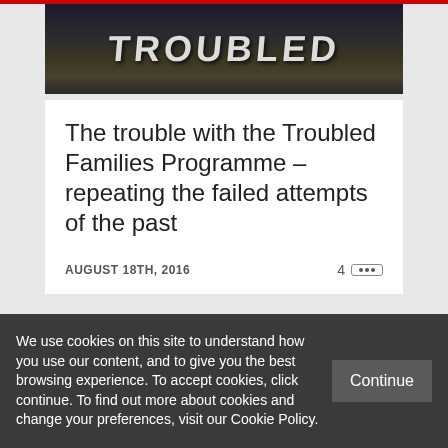[Figure (photo): Graffiti/street art photo with text 'TROUBLED' visible in white lettering against a dark background]
The trouble with the Troubled Families Programme – repeating the failed attempts of the past
AUGUST 18TH, 2016
We use cookies on this site to understand how you use our content, and to give you the best browsing experience. To accept cookies, click continue. To find out more about cookies and change your preferences, visit our Cookie Policy.